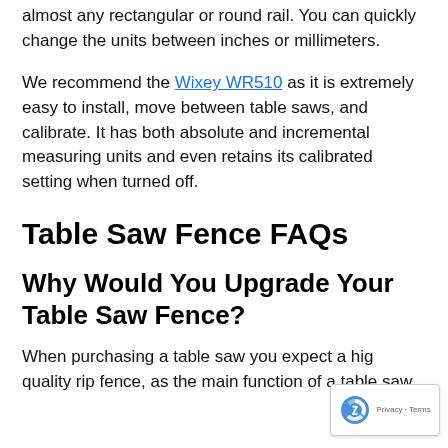almost any rectangular or round rail. You can quickly change the units between inches or millimeters.
We recommend the Wixey WR510 as it is extremely easy to install, move between table saws, and calibrate. It has both absolute and incremental measuring units and even retains its calibrated setting when turned off.
Table Saw Fence FAQs
Why Would You Upgrade Your Table Saw Fence?
When purchasing a table saw you expect a high quality rip fence, as the main function of a table saw